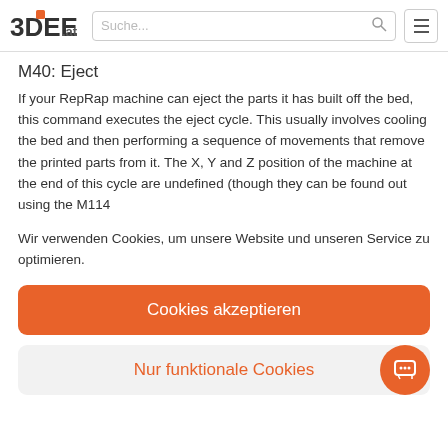3DEE.at — Suche...
M40: Eject
If your RepRap machine can eject the parts it has built off the bed, this command executes the eject cycle. This usually involves cooling the bed and then performing a sequence of movements that remove the printed parts from it. The X, Y and Z position of the machine at the end of this cycle are undefined (though they can be found out using the M114
Wir verwenden Cookies, um unsere Website und unseren Service zu optimieren.
Cookies akzeptieren
Nur funktionale Cookies